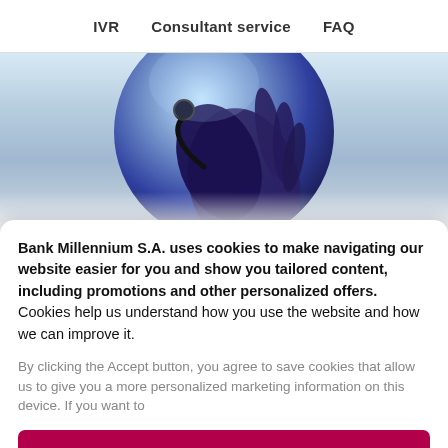IVR   Consultant service   FAQ
[Figure (photo): Hand holding a headset against a blue-lit circular background, representing customer service or IVR system]
Bank Millennium S.A. uses cookies to make navigating our website easier for you and show you tailored content, including promotions and other personalized offers. Cookies help us understand how you use the website and how we can improve it.
By clicking the Accept button, you agree to save cookies that allow us to give you a more personalized marketing information on this device. If you want to
ACCEPT
SETTING